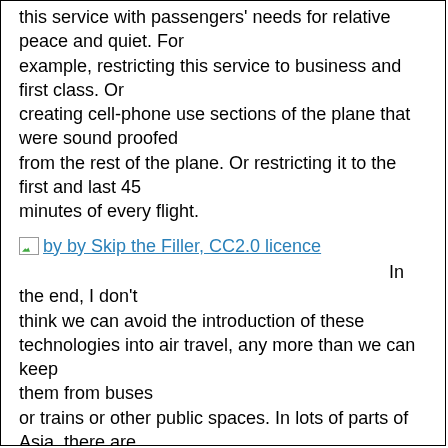this service with passengers' needs for relative peace and quiet.  For example, restricting this service to business and first class.  Or creating cell-phone use sections of the plane that were sound proofed from the rest of the plane. Or restricting it to the first and last 45 minutes of every flight.
[Figure (other): Broken image icon followed by hyperlink text: 'by by Skip the Filler, CC2.0 licence']
In the end, I don't think we can avoid the introduction of these technologies into air travel, any more than we can keep them from buses or trains or other public spaces.  In lots of parts of Asia, there are strong social mores about the use of cell phones in public transportation.  You see salarymen on the Tokyo metro holding their hands over their mouths as they whisper into their cell phones.